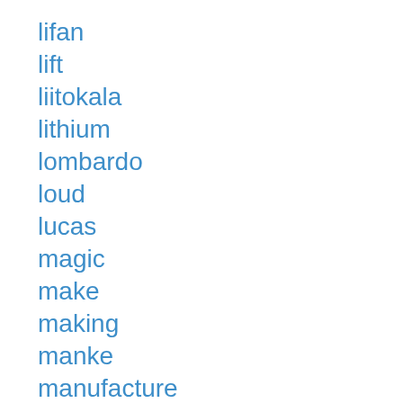lifan
lift
liitokala
lithium
lombardo
loud
lucas
magic
make
making
manke
manufacture
manwoman
marin
massive